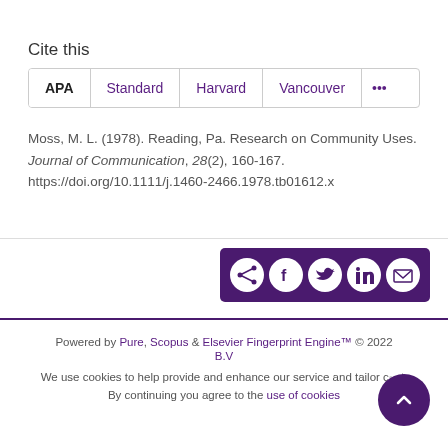Cite this
APA | Standard | Harvard | Vancouver | ...
Moss, M. L. (1978). Reading, Pa. Research on Community Uses. Journal of Communication, 28(2), 160-167. https://doi.org/10.1111/j.1460-2466.1978.tb01612.x
[Figure (infographic): Share buttons bar with icons for share, Facebook, Twitter, LinkedIn, and email on a dark purple background]
Powered by Pure, Scopus & Elsevier Fingerprint Engine™ © 2022 Elsevier B.V
We use cookies to help provide and enhance our service and tailor content. By continuing you agree to the use of cookies